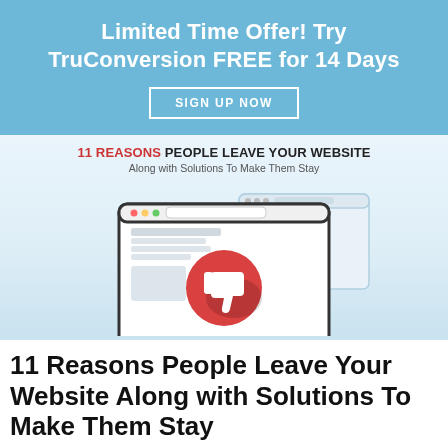Limited Time Offer! Try TruConversion FREE for 14 Days
SIGN UP NOW
[Figure (infographic): Infographic with header '11 REASONS PEOPLE LEAVE YOUR WEBSITE – Along with Solutions To Make Them Stay', showing an illustration of a computer monitor displaying a web page with a red thumbs-down icon, with additional browser windows behind it, on a light blue gradient background.]
11 Reasons People Leave Your Website Along with Solutions To Make Them Stay
BY HAMMAD AKBAR | NO COMMENTS